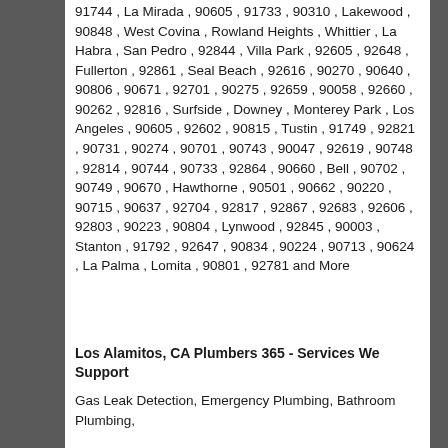91744 , La Mirada , 90605 , 91733 , 90310 , Lakewood , 90848 , West Covina , Rowland Heights , Whittier , La Habra , San Pedro , 92844 , Villa Park , 92605 , 92648 , Fullerton , 92861 , Seal Beach , 92616 , 90270 , 90640 , 90806 , 90671 , 92701 , 90275 , 92659 , 90058 , 92660 , 90262 , 92816 , Surfside , Downey , Monterey Park , Los Angeles , 90605 , 92602 , 90815 , Tustin , 91749 , 92821 , 90731 , 90274 , 90701 , 90743 , 90047 , 92619 , 90748 , 92814 , 90744 , 90733 , 92864 , 90660 , Bell , 90702 , 90749 , 90670 , Hawthorne , 90501 , 90662 , 90220 , 90715 , 90637 , 92704 , 92817 , 92867 , 92683 , 92606 , 92803 , 90223 , 90804 , Lynwood , 92845 , 90003 , Stanton , 91792 , 92647 , 90834 , 90224 , 90713 , 90624 , La Palma , Lomita , 90801 , 92781 and More
Los Alamitos, CA Plumbers 365 - Services We Support
Gas Leak Detection, Emergency Plumbing, Bathroom Plumbing,